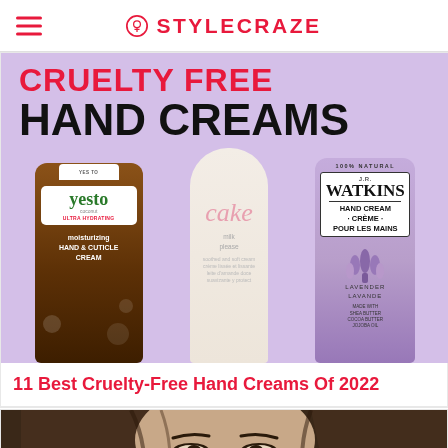STYLECRAZE
[Figure (illustration): Promotional banner for '11 Best Cruelty-Free Hand Creams Of 2022' article on StyleCraze. Lavender background with bold text 'CRUELTY FREE' in red and 'HAND CREAMS' in black. Three hand cream products shown: Yes To Coconut moisturizing hand & cuticle cream, Cake brand hand cream, and J.R. Watkins lavender hand cream.]
11 Best Cruelty-Free Hand Creams Of 2022
[Figure (photo): Partial photo of a woman with long dark hair, showing the top of her face including eyes and hair.]